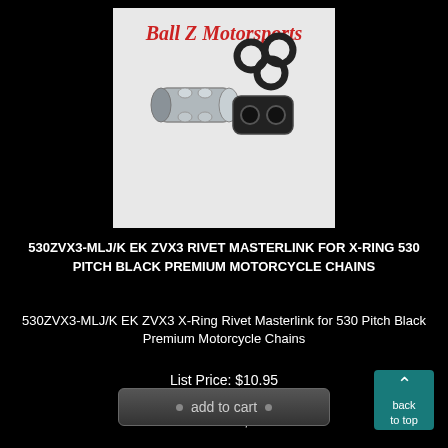[Figure (photo): Product photo of motorcycle chain masterlink and O-rings with 'Ball Z Motorsports' logo in red italic text on white background]
530ZVX3-MLJ/K EK ZVX3 RIVET MASTERLINK FOR X-RING 530 PITCH BLACK PREMIUM MOTORCYCLE CHAINS
530ZVX3-MLJ/K EK ZVX3 X-Ring Rivet Masterlink for 530 Pitch Black Premium Motorcycle Chains
List Price: $10.95
Sale Price $8.27
YOU SAVE $2.68!